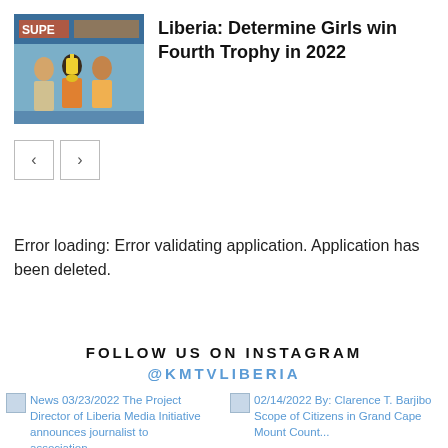[Figure (photo): Sports award ceremony photo showing people holding a trophy, with colorful banners in the background]
Liberia: Determine Girls win Fourth Trophy in 2022
[Figure (other): Navigation previous and next arrow buttons]
Error loading: Error validating application. Application has been deleted.
FOLLOW US ON INSTAGRAM
@KMTVLIBERIA
News 03/23/2022 The Project Director of Liberia Media Initiative announces journalist...
02/14/2022 By: Clarence T. Barjibo Scope of Citizens in Grand Cape Mount Count...